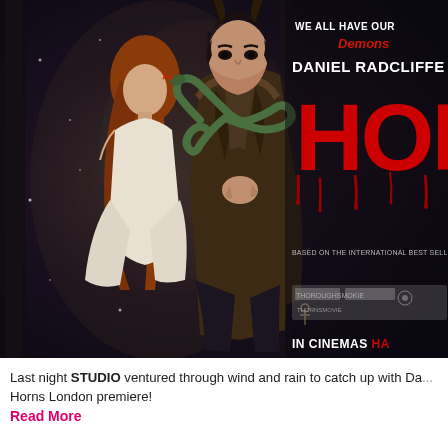[Figure (photo): Movie poster for 'Horns' starring Daniel Radcliffe. Shows a man with demon horns and a woman in a white dress on the left, with a snake wrapped around the man. Text reads 'WE ALL HAVE OUR Demons', 'DANIEL RADCLIFFE', 'HORNS' in large red letters, 'BASED ON THE INTERNATIONAL BEST SELLER', 'IN CINEMAS' with logos at the bottom.]
Last night STUDIO ventured through wind and rain to catch up with Daniel Radcliffe at the Horns London premiere!
Read More